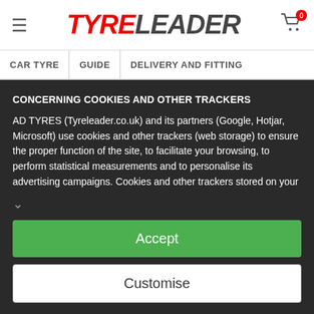TYRELEADER
CAR TYRE | GUIDE | DELIVERY AND FITTING
CONCERNING COOKIES AND OTHER TRACKERS
AD TYRES (Tyreleader.co.uk) and its partners (Google, Hotjar, Microsoft) use cookies and other trackers (web storage) to ensure the proper function of the site, to facilitate your browsing, to perform statistical measurements and to personalise its advertising campaigns. Cookies and other trackers stored on your device may contain personal data. Furthermore, we do not deposit any cookies or other trackers without your voluntary and
Accept
Customise